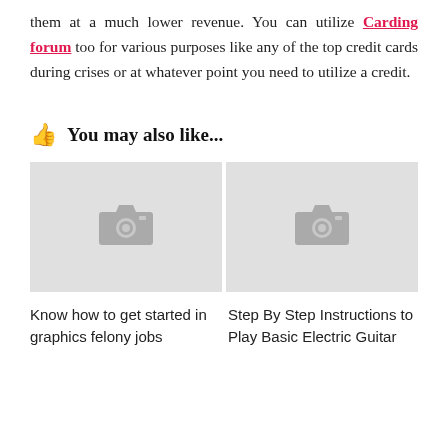them at a much lower revenue. You can utilize Carding forum too for various purposes like any of the top credit cards during crises or at whatever point you need to utilize a credit.
👍 You may also like...
[Figure (photo): Placeholder image thumbnail with camera icon for article: Know how to get started in graphics felony jobs]
[Figure (photo): Placeholder image thumbnail with camera icon for article: Step By Step Instructions to Play Basic Electric Guitar]
Know how to get started in graphics felony jobs
Step By Step Instructions to Play Basic Electric Guitar